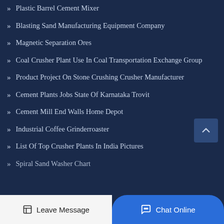Plastic Barrel Cement Mixer
Blasting Sand Manufacturing Equipment Company
Magnetic Separation Ores
Coal Crusher Plant Use In Coal Transportation Exchange Group
Product Project On Stone Crushing Crusher Manufacturer
Cement Plants Jobs State Of Karnataka Trovit
Cement Mill End Walls Home Depot
Industrial Coffee Grinderroaster
List Of Top Crusher Plants In India Pictures
Spiral Sand Washer Chart
Leave Message
Chat Online